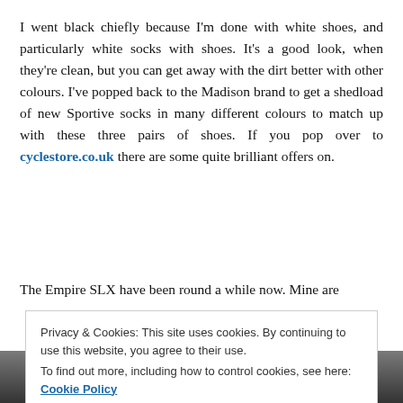I went black chiefly because I'm done with white shoes, and particularly white socks with shoes. It's a good look, when they're clean, but you can get away with the dirt better with other colours. I've popped back to the Madison brand to get a shedload of new Sportive socks in many different colours to match up with these three pairs of shoes. If you pop over to cyclestore.co.uk there are some quite brilliant offers on.
The Empire SLX have been round a while now. Mine are
Privacy & Cookies: This site uses cookies. By continuing to use this website, you agree to their use.
To find out more, including how to control cookies, see here: Cookie Policy
[Figure (photo): Partial view of cycling shoes at the bottom of the page]